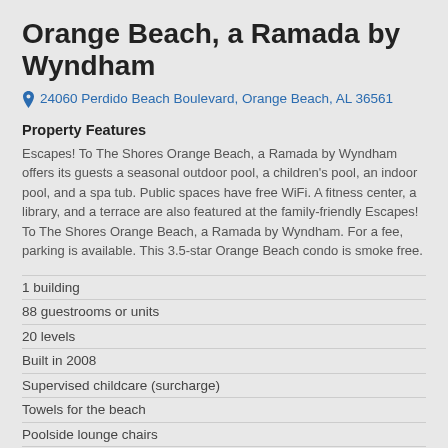Orange Beach, a Ramada by Wyndham
24060 Perdido Beach Boulevard, Orange Beach, AL 36561
Property Features
Escapes! To The Shores Orange Beach, a Ramada by Wyndham offers its guests a seasonal outdoor pool, a children's pool, an indoor pool, and a spa tub. Public spaces have free WiFi. A fitness center, a library, and a terrace are also featured at the family-friendly Escapes! To The Shores Orange Beach, a Ramada by Wyndham. For a fee, parking is available. This 3.5-star Orange Beach condo is smoke free.
1 building
88 guestrooms or units
20 levels
Built in 2008
Supervised childcare (surcharge)
Towels for the beach
Poolside lounge chairs
Umbrellas for the pool
Self-service laundry